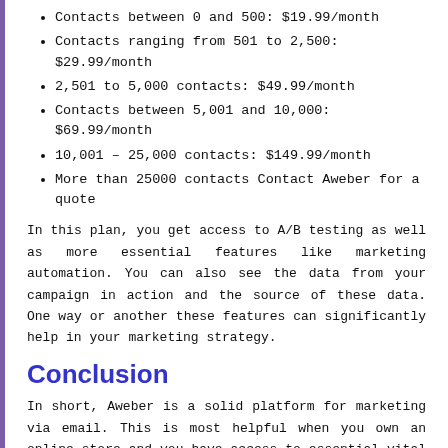Contacts between 0 and 500: $19.99/month
Contacts ranging from 501 to 2,500: $29.99/month
2,501 to 5,000 contacts: $49.99/month
Contacts between 5,001 and 10,000: $69.99/month
10,001 – 25,000 contacts: $149.99/month
More than 25000 contacts Contact Aweber for a quote
In this plan, you get access to A/B testing as well as more essential features like marketing automation. You can also see the data from your campaign in action and the source of these data. One way or another these features can significantly help in your marketing strategy.
Conclusion
In short, Aweber is a solid platform for marketing via email. This is most helpful when you own an online store and you have access to essential vital features.